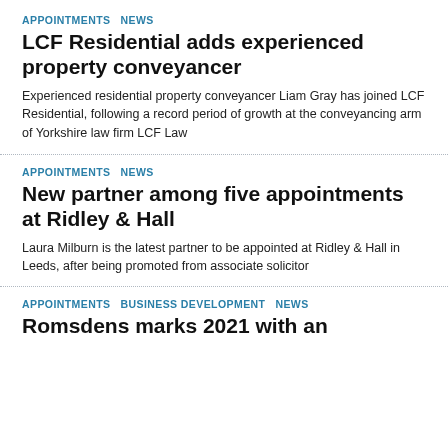APPOINTMENTS  NEWS
LCF Residential adds experienced property conveyancer
Experienced residential property conveyancer Liam Gray has joined LCF Residential, following a record period of growth at the conveyancing arm of Yorkshire law firm LCF Law
APPOINTMENTS  NEWS
New partner among five appointments at Ridley & Hall
Laura Milburn is the latest partner to be appointed at Ridley & Hall in Leeds, after being promoted from associate solicitor
APPOINTMENTS  BUSINESS DEVELOPMENT  NEWS
Romsdens marks 2021 with an